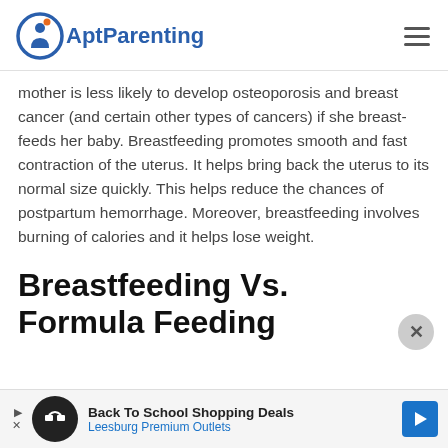AptParenting
mother is less likely to develop osteoporosis and breast cancer (and certain other types of cancers) if she breast-feeds her baby. Breastfeeding promotes smooth and fast contraction of the uterus. It helps bring back the uterus to its normal size quickly. This helps reduce the chances of postpartum hemorrhage. Moreover, breastfeeding involves burning of calories and it helps lose weight.
Breastfeeding Vs. Formula Feeding
[Figure (infographic): Advertisement banner: Back To School Shopping Deals - Leesburg Premium Outlets]